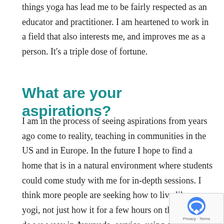things yoga has lead me to be fairly respected as an educator and practitioner. I am heartened to work in a field that also interests me, and improves me as a person. It's a triple dose of fortune.
What are your aspirations?
I am in the process of seeing aspirations from years ago come to reality, teaching in communities in the US and in Europe. In the future I hope to find a home that is in a natural environment where students could come study with me for in-depth sessions. I think more people are seeking how to live like a yogi, not just how it for a few hours on the mat. How do we weav in Ayurveda, service, using our skills and talents